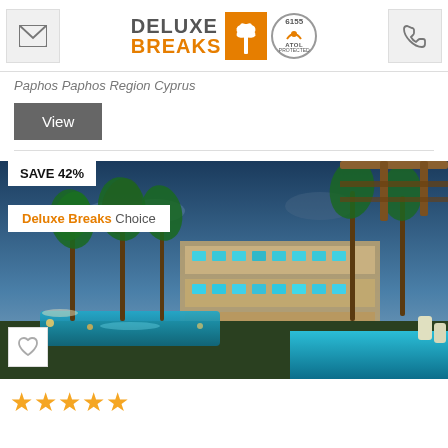Deluxe Breaks logo with palm tree icon and ATOL 6155 Protected badge
Paphos Paphos Region Cyprus
View
[Figure (photo): Hotel resort at dusk with illuminated pool, palm trees, and multi-storey hotel building with lit windows. Labels: SAVE 42%, Deluxe Breaks Choice, heart/favourite button.]
★★★★★